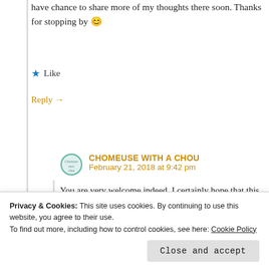have chance to share more of my thoughts there soon. Thanks for stopping by 😊
★ Like
Reply →
CHOMEUSE WITH A CHOU
February 21, 2018 at 9:42 pm
You are very welcome indeed. I certainly hope that this opens up a whole new writing outlet for you 🙂
Privacy & Cookies: This site uses cookies. By continuing to use this website, you agree to their use.
To find out more, including how to control cookies, see here: Cookie Policy